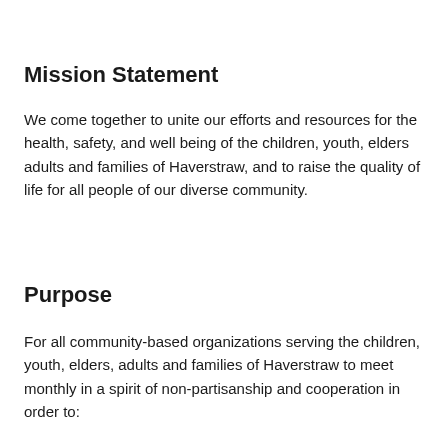Mission Statement
We come together to unite our efforts and resources for the health, safety, and well being of the children, youth, elders adults and families of Haverstraw, and to raise the quality of life for all people of our diverse community.
Purpose
For all community-based organizations serving the children, youth, elders, adults and families of Haverstraw to meet monthly in a spirit of non-partisanship and cooperation in order to: